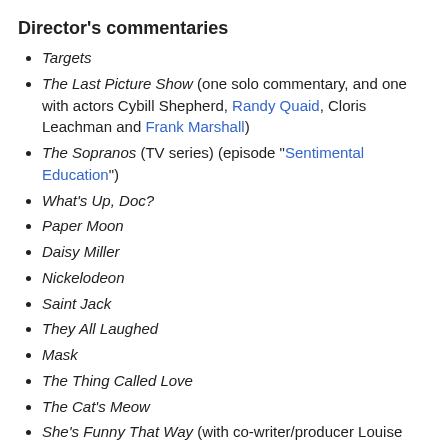Director's commentaries
Targets
The Last Picture Show (one solo commentary, and one with actors Cybill Shepherd, Randy Quaid, Cloris Leachman and Frank Marshall)
The Sopranos (TV series) (episode "Sentimental Education")
What's Up, Doc?
Paper Moon
Daisy Miller
Nickelodeon
Saint Jack
They All Laughed
Mask
The Thing Called Love
The Cat's Meow
She's Funny That Way (with co-writer/producer Louise Stratten)
Scholarly commentaries